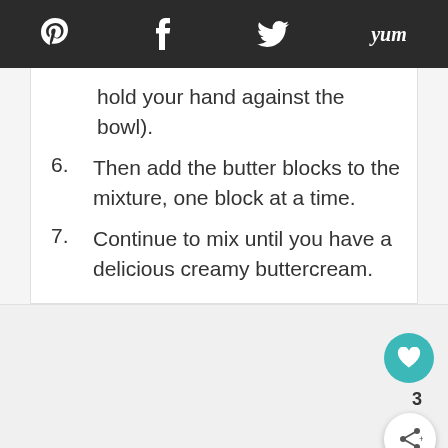Social share bar with Pinterest, Facebook, Twitter, Yum icons
hold your hand against the bowl).
6. Then add the butter blocks to the mixture, one block at a time.
7. Continue to mix until you have a delicious creamy buttercream.